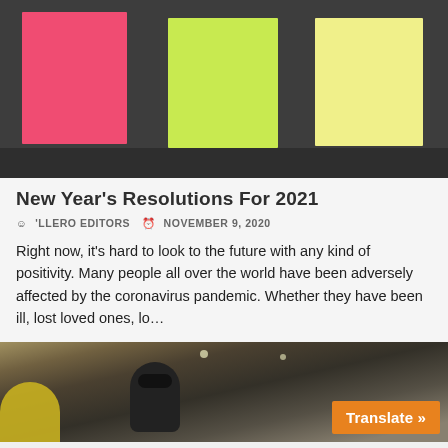[Figure (photo): Three colored sticky notes (pink, green, yellow) on a dark background]
New Year's Resolutions For 2021
'LLERO Editors   November 9, 2020
Right now, it's hard to look to the future with any kind of positivity. Many people all over the world have been adversely affected by the coronavirus pandemic. Whether they have been ill, lost loved ones, lo…
[Figure (photo): People on an airplane, one person wearing helmet/goggles, with an orange Translate button overlay]